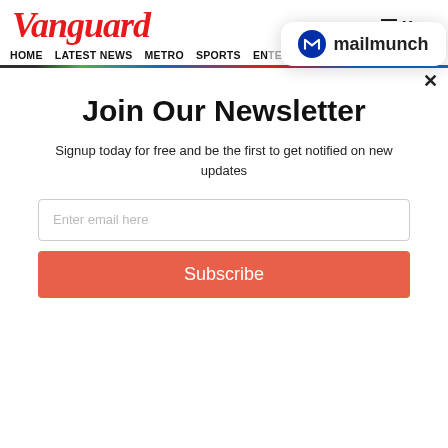Vanguard
≡ Menu
[Figure (logo): Mailmunch logo with blue M icon and text 'mailmunch']
HOME  LATEST NEWS  METRO  SPORTS  ENTERTAINMENT  VIDEOS
Join Our Newsletter
Signup today for free and be the first to get notified on new updates
Enter email here
Subscribe